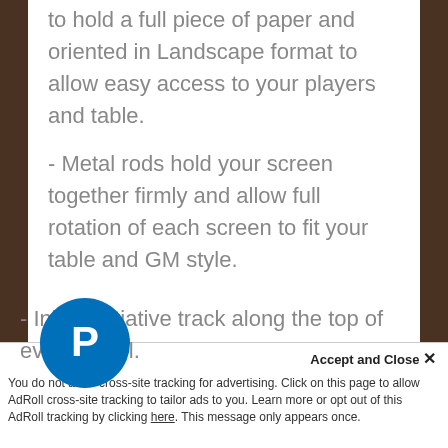to hold a full piece of paper and oriented in Landscape format to allow easy access to your players and table.
- Metal rods hold your screen together firmly and allow full rotation of each screen to fit your table and GM style.
- 24 embedded magnets on the back of the screen for holding 3 included Plexiglass panels for note taking or steel bearings for posting charts and tables. 10 bearings are included with every Screen.
- Inline initiative track along the top of every panel.
You do not allow cross-site tracking for advertising. Click on this page to allow AdRoll cross-site tracking to tailor ads to you. Learn more or opt out of this AdRoll tracking by clicking here. This message only appears once.